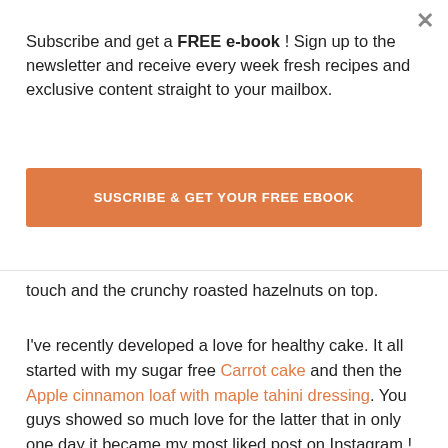Subscribe and get a FREE e-book ! Sign up to the newsletter and receive every week fresh recipes and exclusive content straight to your mailbox.
SUSCRIBE & GET YOUR FREE EBOOK
touch and the crunchy roasted hazelnuts on top.
I've recently developed a love for healthy cake. It all started with my sugar free Carrot cake and then the Apple cinnamon loaf with maple tahini dressing. You guys showed so much love for the latter that in only one day it became my most liked post on Instagram ! So I came to the conclusion you love healthy cake as much as I do, so I jumped into my kitchen to prepare a new one for you, that's how this carob loaf came about.